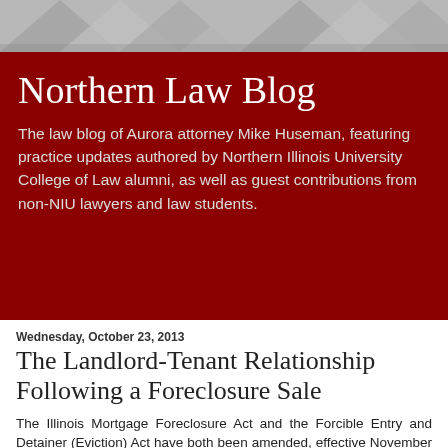[Figure (illustration): Gray geometric decorative banner at top of page with triangular shapes]
Northern Law Blog
The law blog of Aurora attorney Mike Huseman, featuring practice updates authored by Northern Illinois University College of Law alumni, as well as guest contributions from non-NIU lawyers and law students.
Wednesday, October 23, 2013
The Landlord-Tenant Relationship Following a Foreclosure Sale
The Illinois Mortgage Foreclosure Act and the Forcible Entry and Detainer (Eviction) Act have both been amended, effective November 19, 2013, to provide stronger protections to tenants following foreclosures.